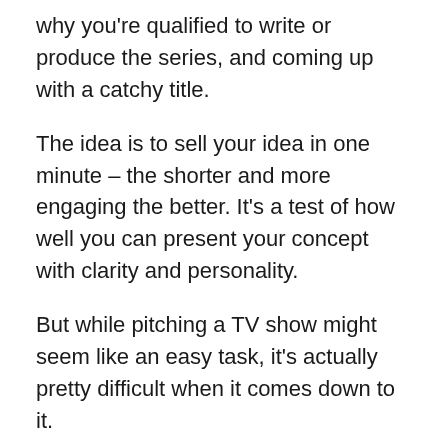why you're qualified to write or produce the series, and coming up with a catchy title.
The idea is to sell your idea in one minute – the shorter and more engaging the better. It's a test of how well you can present your concept with clarity and personality.
But while pitching a TV show might seem like an easy task, it's actually pretty difficult when it comes down to it.
You need to come up with a catchy title that hooks viewers, explain what the show is about quickly enough so they will want to